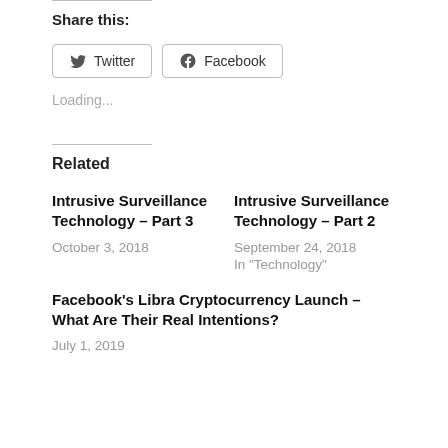Share this:
[Figure (other): Twitter and Facebook share buttons]
Loading...
Related
Intrusive Surveillance Technology – Part 3
October 3, 2018
Intrusive Surveillance Technology – Part 2
September 24, 2018
In "Technology"
Facebook's Libra Cryptocurrency Launch – What Are Their Real Intentions?
July 1, 2019